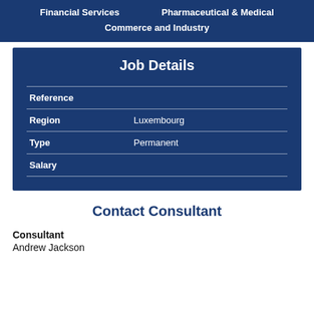Financial Services   Pharmaceutical & Medical   Commerce and Industry
Job Details
| Field | Value |
| --- | --- |
| Reference |  |
| Region | Luxembourg |
| Type | Permanent |
| Salary |  |
Contact Consultant
Consultant
Andrew Jackson